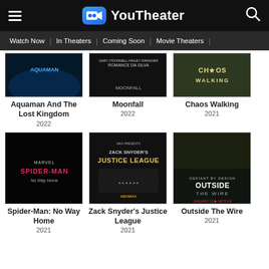YouTheater — Watch Now | In Theaters | Coming Soon | Movie Theaters
[Figure (screenshot): Movie poster thumbnails row 1: Aquaman And The Lost Kingdom (2022), Moonfall (2022), Chaos Walking (2021)]
[Figure (screenshot): Movie poster thumbnails row 2: Spider-Man: No Way Home (2021), Zack Snyder's Justice League (2021), Outside The Wire (2021)]